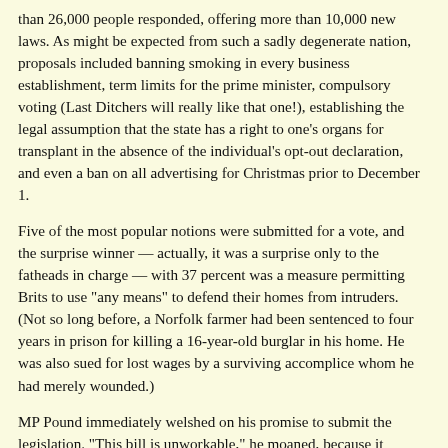than 26,000 people responded, offering more than 10,000 new laws. As might be expected from such a sadly degenerate nation, proposals included banning smoking in every business establishment, term limits for the prime minister, compulsory voting (Last Ditchers will really like that one!), establishing the legal assumption that the state has a right to one's organs for transplant in the absence of the individual's opt-out declaration, and even a ban on all advertising for Christmas prior to December 1.
Five of the most popular notions were submitted for a vote, and the surprise winner — actually, it was a surprise only to the fatheads in charge — with 37 percent was a measure permitting Brits to use "any means" to defend their homes from intruders. (Not so long before, a Norfolk farmer had been sentenced to four years in prison for killing a 16-year-old burglar in his home. He was also sued for lost wages by a surviving accomplice whom he had merely wounded.)
MP Pound immediately welshed on his promise to submit the legislation. "This bill is unworkable," he moaned, because it "endorses the slaughter of 16-year-old kids." The media were positively apoplectic: The Daily Telegraph predicted mass murder of juveniles. A Times writer asserted that allowing the people a voice in making laws made "a mockery of the democratic process."